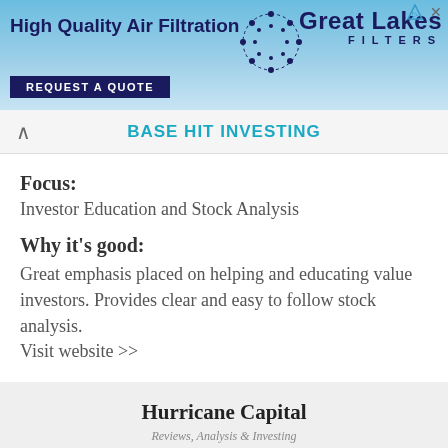[Figure (screenshot): Advertisement banner for Great Lakes Filters - High Quality Air Filtration with blue sky background and Request a Quote button]
BASE HIT INVESTING
Focus:
Investor Education and Stock Analysis
Why it's good:
Great emphasis placed on helping and educating value investors. Provides clear and easy to follow stock analysis.
Visit website >>
[Figure (screenshot): Hurricane Capital website preview with title 'Hurricane Capital' and subtitle 'Reviews, Analysis & Investing' with navigation bar showing hamburger menu and search icon]